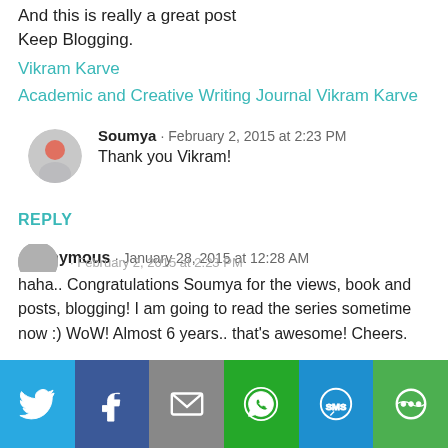And this is really a great post
Keep Blogging.
Vikram Karve
Academic and Creative Writing Journal Vikram Karve
Soumya · February 2, 2015 at 2:23 PM
Thank you Vikram!
REPLY
Anonymous · January 28, 2015 at 12:28 AM
haha.. Congratulations Soumya for the views, book and posts, blogging! I am going to read the series sometime now :) WoW! Almost 6 years.. that's awesome! Cheers.